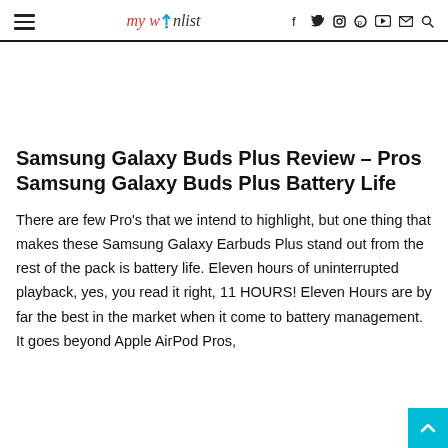my w[i]nlist — navigation header with social icons
Samsung Galaxy Buds Plus Review – Pros Samsung Galaxy Buds Plus Battery Life
There are few Pro's that we intend to highlight, but one thing that makes these Samsung Galaxy Earbuds Plus stand out from the rest of the pack is battery life. Eleven hours of uninterrupted playback, yes, you read it right, 11 HOURS! Eleven Hours are by far the best in the market when it comes to battery management. It goes beyond Apple AirPod Pros,